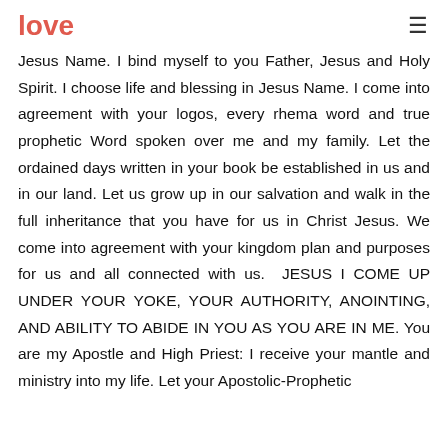love
Jesus Name. I bind myself to you Father, Jesus and Holy Spirit. I choose life and blessing in Jesus Name. I come into agreement with your logos, every rhema word and true prophetic Word spoken over me and my family. Let the ordained days written in your book be established in us and in our land. Let us grow up in our salvation and walk in the full inheritance that you have for us in Christ Jesus. We come into agreement with your kingdom plan and purposes for us and all connected with us.  JESUS I COME UP UNDER YOUR YOKE, YOUR AUTHORITY, ANOINTING, AND ABILITY TO ABIDE IN YOU AS YOU ARE IN ME. You are my Apostle and High Priest: I receive your mantle and ministry into my life. Let your Apostolic-Prophetic